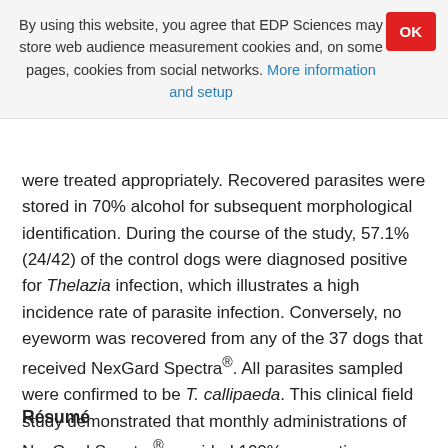By using this website, you agree that EDP Sciences may store web audience measurement cookies and, on some pages, cookies from social networks. More information and setup
were treated appropriately. Recovered parasites were stored in 70% alcohol for subsequent morphological identification. During the course of the study, 57.1% (24/42) of the control dogs were diagnosed positive for Thelazia infection, which illustrates a high incidence rate of parasite infection. Conversely, no eyeworm was recovered from any of the 37 dogs that received NexGard Spectra®. All parasites sampled were confirmed to be T. callipaeda. This clinical field study demonstrated that monthly administrations of NexGard Spectra® provided 100% preventive efficacy against canine thelaziosis.
Résumé